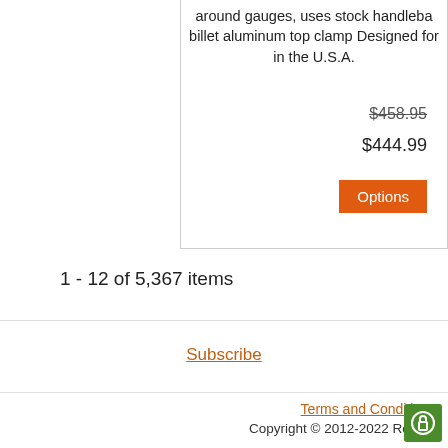around gauges, uses stock handleba billet aluminum top clamp Designed for in the U.S.A.
$458.95
$444.99
Options
1 - 12 of 5,367 items
Subscribe
Terms and Conditions  Copyright © 2012-2022 Road 6